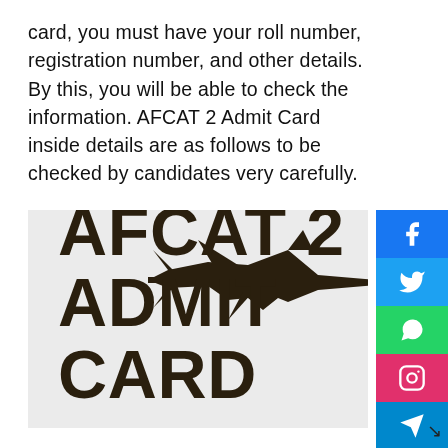card, you must have your roll number, registration number, and other details. By this, you will be able to check the information. AFCAT 2 Admit Card inside details are as follows to be checked by candidates very carefully.
[Figure (illustration): AFCAT 2 Admit Card promotional image with bold text 'AFCAT 2 ADMIT CARD' on a light grey background with a black fighter jet silhouette in the upper right]